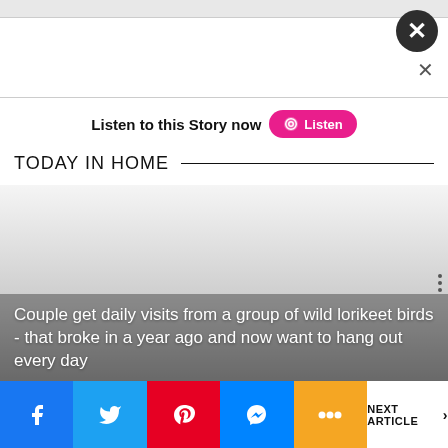[Figure (screenshot): Top gray bar with close button (dark circle with X) and smaller X below it]
Listen to this Story now  Listen
TODAY IN HOME
[Figure (photo): Gray gradient image area for a news article card]
Couple get daily visits from a group of wild lorikeet birds - that broke in a year ago and now want to hang out every day
NEXT ARTICLE >